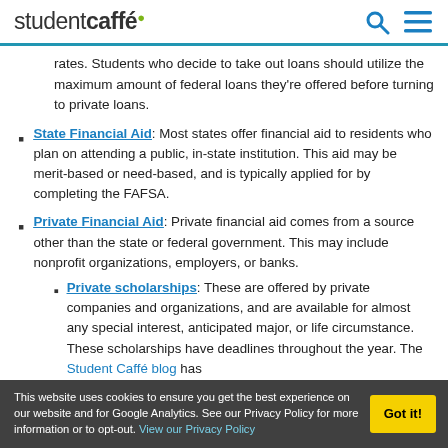studentcaffé
rates. Students who decide to take out loans should utilize the maximum amount of federal loans they're offered before turning to private loans.
State Financial Aid: Most states offer financial aid to residents who plan on attending a public, in-state institution. This aid may be merit-based or need-based, and is typically applied for by completing the FAFSA.
Private Financial Aid: Private financial aid comes from a source other than the state or federal government. This may include nonprofit organizations, employers, or banks.
Private scholarships: These are offered by private companies and organizations, and are available for almost any special interest, anticipated major, or life circumstance. These scholarships have deadlines throughout the year. The Student Caffé blog has
This website uses cookies to ensure you get the best experience on our website and for Google Analytics. See our Privacy Policy for more information or to opt-out. View our Privacy Policy | Got it!